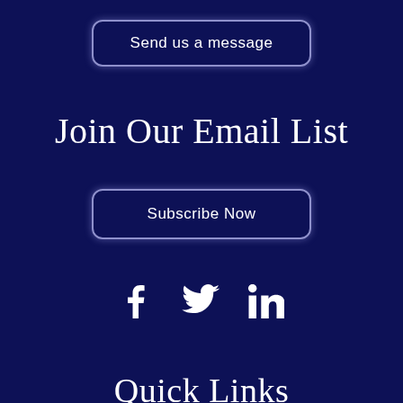Send us a message
Join Our Email List
Subscribe Now
[Figure (infographic): Social media icons: Facebook, Twitter, LinkedIn in white on dark navy background]
Quick Links